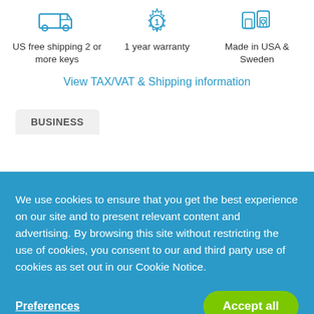[Figure (illustration): Icon of a delivery truck for US free shipping]
US free shipping 2 or more keys
[Figure (illustration): Icon of a gear/warranty badge with number 1]
1 year warranty
[Figure (illustration): Icon of a padlock/key made in USA and Sweden]
Made in USA & Sweden
View TAX/VAT & Shipping information
BUSINESS
We use cookies to ensure that you get the best experience on our site and to present relevant content and advertising. By browsing this site without restricting the use of cookies, you consent to our and third party use of cookies as set out in our Cookie Notice.
Preferences
Accept all
security key that's easy to set up, deploy, and use